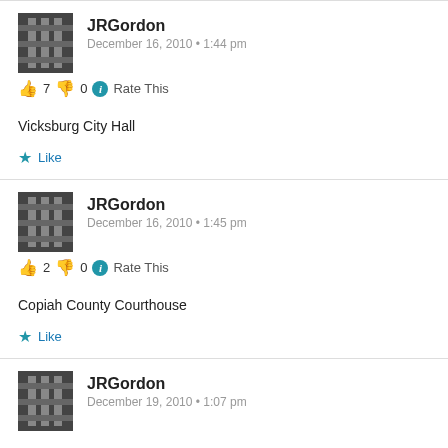JRGordon — December 16, 2010 • 1:44 pm — 👍 7 👎 0 ℹ Rate This
Vicksburg City Hall
★ Like
JRGordon — December 16, 2010 • 1:45 pm — 👍 2 👎 0 ℹ Rate This
Copiah County Courthouse
★ Like
JRGordon — December 19, 2010 • 1:07 pm